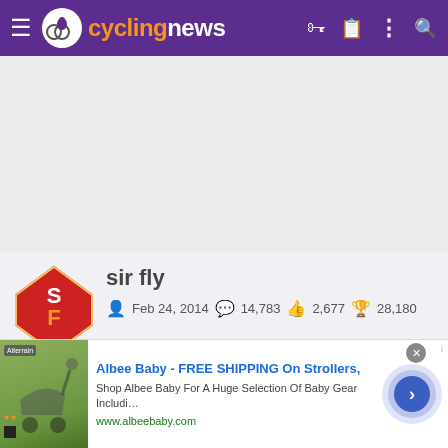[Figure (screenshot): Cyclingnews website navigation bar with purple background, hamburger menu, cycling news logo, and icons]
[Figure (screenshot): User profile card for 'sir fly' with SF 49ers avatar, join date Feb 24 2014, 14783 posts, 2677 likes, 28180 points, and various achievement badges]
[Figure (screenshot): Advertisement banner for Albee Baby - FREE SHIPPING On Strollers with shop image and navigation arrow]